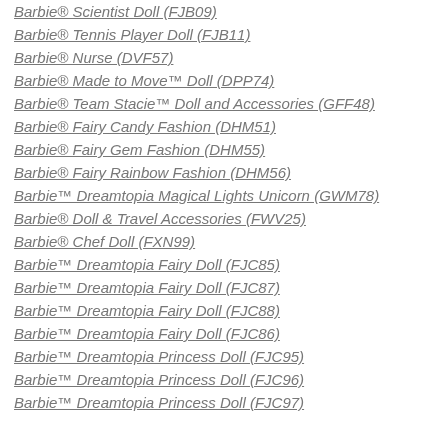Barbie® Scientist Doll (FJB09)
Barbie® Tennis Player Doll (FJB11)
Barbie® Nurse (DVF57)
Barbie® Made to Move™ Doll (DPP74)
Barbie® Team Stacie™ Doll and Accessories (GFF48)
Barbie® Fairy Candy Fashion (DHM51)
Barbie® Fairy Gem Fashion (DHM55)
Barbie® Fairy Rainbow Fashion (DHM56)
Barbie™ Dreamtopia Magical Lights Unicorn (GWM78)
Barbie® Doll & Travel Accessories (FWV25)
Barbie® Chef Doll (FXN99)
Barbie™ Dreamtopia Fairy Doll (FJC85)
Barbie™ Dreamtopia Fairy Doll (FJC87)
Barbie™ Dreamtopia Fairy Doll (FJC88)
Barbie™ Dreamtopia Fairy Doll (FJC86)
Barbie™ Dreamtopia Princess Doll (FJC95)
Barbie™ Dreamtopia Princess Doll (FJC96)
Barbie™ Dreamtopia Princess Doll (FJC97)